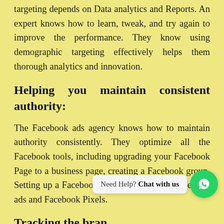targeting depends on Data analytics and Reports. An expert knows how to learn, tweak, and try again to improve the performance. They know using demographic targeting effectively helps them thorough analytics and innovation.
Helping you maintain consistent authority:
The Facebook ads agency knows how to maintain authority consistently. They optimize all the Facebook tools, including upgrading your Facebook Page to a business page, creating a Facebook group, Setting up a Facebook Chatbot, and using Facebook ads and Facebook Pixels.
Tracking the bran
An expert tracks the records and understands what is